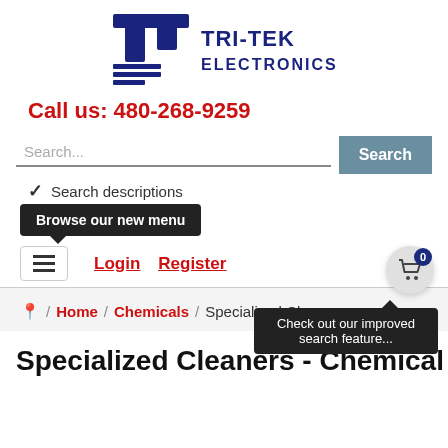[Figure (logo): Tri-Tek Electronics logo with stylized TT symbol and company name]
Call us: 480-268-9259
Search... [Search button] Check out our improved search feature... Browse our new menu [checkbox] Search descriptions Login Register [cart: 0]
Home / Chemicals / Specialized Cleaners
Specialized Cleaners - Chemicals